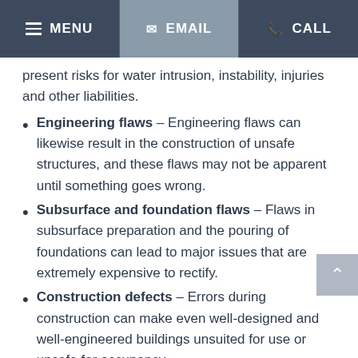MENU  EMAIL  CALL
present risks for water intrusion, instability, injuries and other liabilities.
Engineering flaws – Engineering flaws can likewise result in the construction of unsafe structures, and these flaws may not be apparent until something goes wrong.
Subsurface and foundation flaws – Flaws in subsurface preparation and the pouring of foundations can lead to major issues that are extremely expensive to rectify.
Construction defects – Errors during construction can make even well-designed and well-engineered buildings unsuited for use or unsafe for occupancy.
Product defects – Likewise, the use of defective